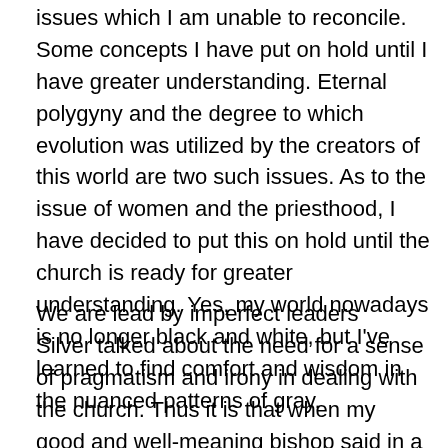issues which I am unable to reconcile. Some concepts I have put on hold until I have greater understanding. Eternal polygyny and the degree to which evolution was utilized by the creators of this world are two such issues. As to the issue of women and the priesthood, I have decided to put this on hold until the church is ready for greater understanding. Yes, my world nowadays is no longer black and white, but I've learned to find comfort and wisdom in the nuanced patterns of gray.
We are lead by imperfect leaders
Silver talked about the need for a sense of pragmatism and irony in dealing with the church. Thus it is that when my good and well-meaning bishop said in a temple chapel meeting that the most important tasks we can accomplish here on this earth are to marry and